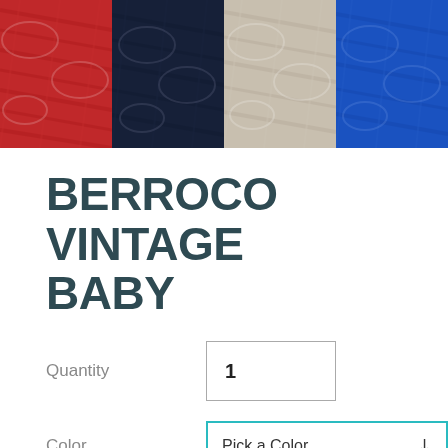[Figure (photo): Four yarn skein color swatches displayed side by side: red, navy blue, beige/cream, and bright blue]
BERROCO VINTAGE BABY
Quantity  1
Color  Pick a Color
ADD TO CART